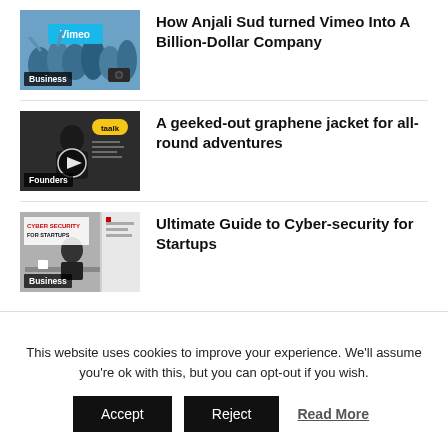[Figure (screenshot): Thumbnail for Vimeo article showing people with Vimeo logo, with 'Business' label overlay]
How Anjali Sud turned Vimeo Into A Billion-Dollar Company
[Figure (screenshot): Thumbnail for graphene jacket article showing a man with play button overlay, 'taalk' branding, and 'Founders' label]
A geeked-out graphene jacket for all-round adventures
[Figure (screenshot): Thumbnail for cyber security article with 'CYBER SECURITY FOR STARTUPS' text and person sitting, with 'Business' label overlay]
Ultimate Guide to Cyber-security for Startups
This website uses cookies to improve your experience. We'll assume you're ok with this, but you can opt-out if you wish.
Accept  Reject  Read More